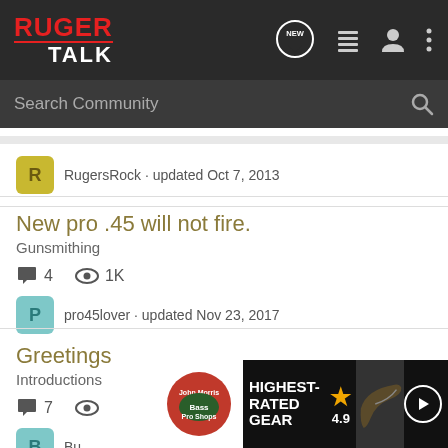[Figure (screenshot): Ruger Talk forum mobile app header with logo, nav icons (NEW bubble, list, user, more), and search bar]
RugersRock · updated Oct 7, 2013
New pro .45 will not fire.
Gunsmithing
4  1K
pro45lover · updated Nov 23, 2017
Greetings
Introductions
7
Bu...
[Figure (infographic): Bass Pro Shops advertisement banner: HIGHEST-RATED GEAR, rating 4.9 stars, product image, play button]